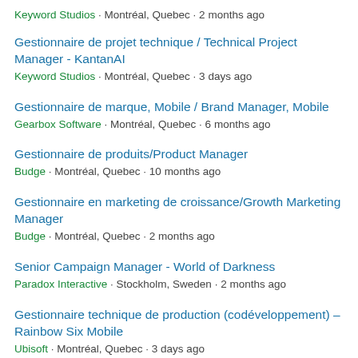Keyword Studios · Montréal, Quebec · 2 months ago
Gestionnaire de projet technique / Technical Project Manager - KantanAI
Keyword Studios · Montréal, Quebec · 3 days ago
Gestionnaire de marque, Mobile / Brand Manager, Mobile
Gearbox Software · Montréal, Quebec · 6 months ago
Gestionnaire de produits/Product Manager
Budge · Montréal, Quebec · 10 months ago
Gestionnaire en marketing de croissance/Growth Marketing Manager
Budge · Montréal, Quebec · 2 months ago
Senior Campaign Manager - World of Darkness
Paradox Interactive · Stockholm, Sweden · 2 months ago
Gestionnaire technique de production (codéveloppement) – Rainbow Six Mobile
Ubisoft · Montréal, Quebec · 3 days ago